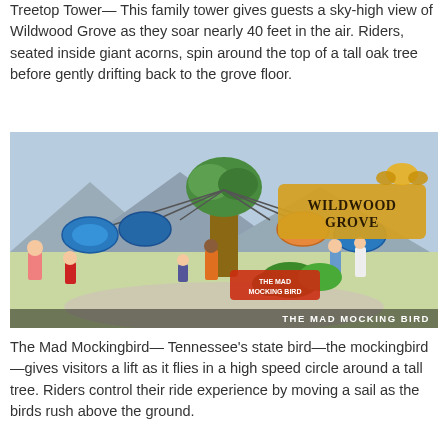Treetop Tower— This family tower gives guests a sky-high view of Wildwood Grove as they soar nearly 40 feet in the air. Riders, seated inside giant acorns, spin around the top of a tall oak tree before gently drifting back to the grove floor.
[Figure (illustration): Illustrated concept art of Wildwood Grove amusement park area showing the Mad Mocking Bird ride — people riding swinging gondolas around a tall tree, with the Wildwood Grove logo and a butterfly visible. Caption watermark reads THE MAD MOCKING BIRD.]
The Mad Mockingbird— Tennessee's state bird—the mockingbird—gives visitors a lift as it flies in a high speed circle around a tall tree. Riders control their ride experience by moving a sail as the birds rush above the ground.